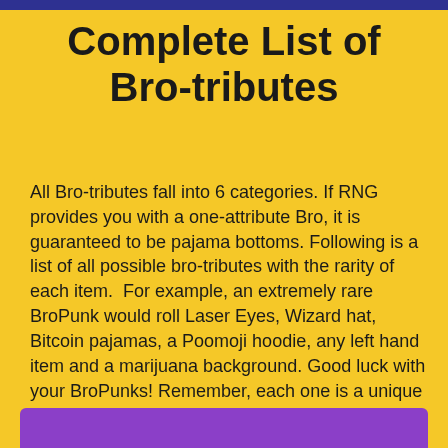Complete List of Bro-tributes
All Bro-tributes fall into 6 categories. If RNG provides you with a one-attribute Bro, it is guaranteed to be pajama bottoms. Following is a list of all possible bro-tributes with the rarity of each item.  For example, an extremely rare BroPunk would roll Laser Eyes, Wizard hat, Bitcoin pajamas, a Poomoji hoodie, any left hand item and a marijuana background. Good luck with your BroPunks! Remember, each one is a unique 1/1!